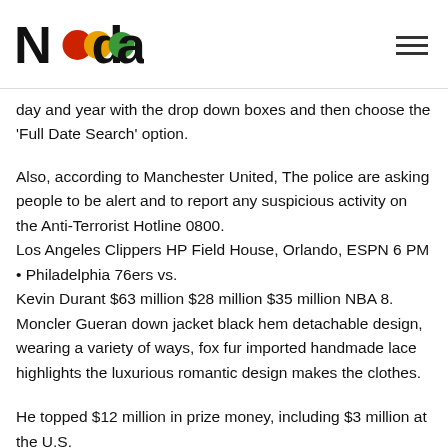Nada [logo]
day and year with the drop down boxes and then choose the ‘Full Date Search’ option.
Also, according to Manchester United, The police are asking people to be alert and to report any suspicious activity on the Anti-Terrorist Hotline 0800.
Los Angeles Clippers HP Field House, Orlando, ESPN 6 PM • Philadelphia 76ers vs.
Kevin Durant $63 million $28 million $35 million NBA 8.
Moncler Gueran down jacket black hem detachable design, wearing a variety of ways, fox fur imported handmade lace highlights the luxurious romantic design makes the clothes.
He topped $12 million in prize money, including $3 million at the U.S.